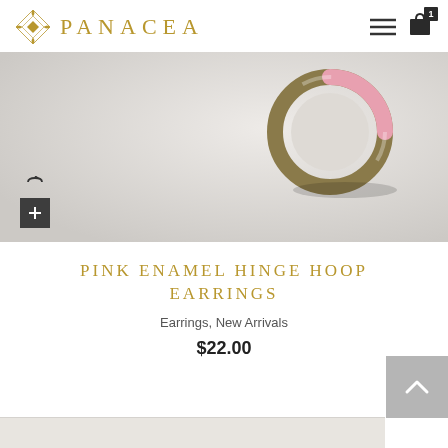PANACEA
[Figure (photo): Close-up photo of a gold and pink enamel hinge hoop earring on a light gray/white background, with an add-to-cart button overlay in the bottom left corner]
PINK ENAMEL HINGE HOOP EARRINGS
Earrings, New Arrivals
$22.00